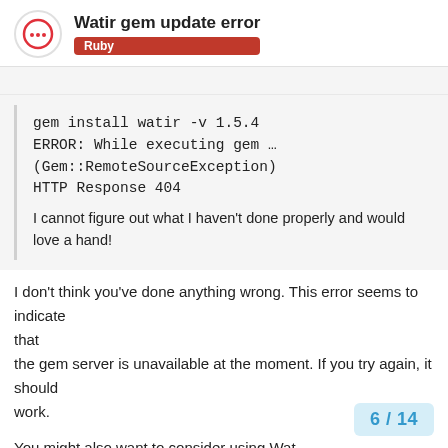Watir gem update error
Ruby
gem install watir -v 1.5.4
ERROR: While executing gem …
(Gem::RemoteSourceException)
HTTP Response 404
I cannot figure out what I haven't done properly and would love a hand!
I don't think you've done anything wrong. This error seems to indicate
that
the gem server is unavailable at the moment. If you try again, it should
work.
You might also want to consider using Wat
6 / 14